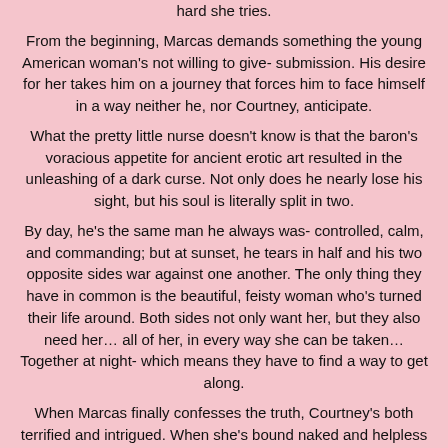hard she tries.
From the beginning, Marcas demands something the young American woman's not willing to give- submission. His desire for her takes him on a journey that forces him to face himself in a way neither he, nor Courtney, anticipate.
What the pretty little nurse doesn't know is that the baron's voracious appetite for ancient erotic art resulted in the unleashing of a dark curse. Not only does he nearly lose his sight, but his soul is literally split in two.
By day, he's the same man he always was- controlled, calm, and commanding; but at sunset, he tears in half and his two opposite sides war against one another. The only thing they have in common is the beautiful, feisty woman who's turned their life around. Both sides not only want her, but they also need her… all of her, in every way she can be taken… Together at night- which means they have to find a way to get along.
When Marcas finally confesses the truth, Courtney's both terrified and intrigued. When she's bound naked and helpless at the mercy of all of his desires, she's shocked to find that she's soon begging for both of him in every manner imaginable.
When she discovers the pain Marcas endures to be with her; she's determined to find a way to help him. Little does she know that there's